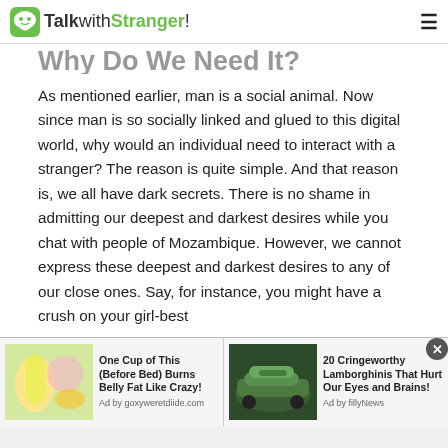TalkwithStranger!
Why Do We Need It?
As mentioned earlier, man is a social animal. Now since man is so socially linked and glued to this digital world, why would an individual need to interact with a stranger? The reason is quite simple. And that reason is, we all have dark secrets. There is no shame in admitting our deepest and darkest desires while you chat with people of Mozambique. However, we cannot express these deepest and darkest desires to any of our close ones. Say, for instance, you might have a crush on your girl-best
[Figure (screenshot): Advertisement: One Cup of This (Before Bed) Burns Belly Fat Like Crazy! Ad by goxyweretdiide.com]
[Figure (screenshot): Advertisement: 20 Cringeworthy Lamborghinis That Hurt Our Eyes and Brains! Ad by fillyNews]